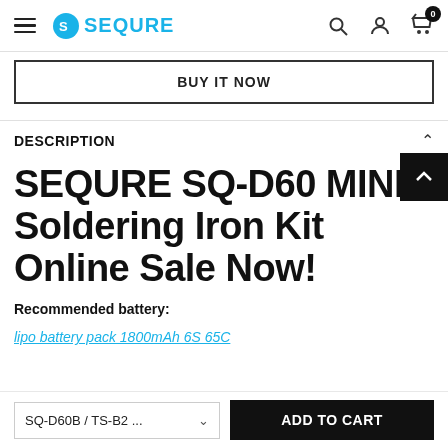SEQURE (logo) — navigation bar with search, account, and cart icons
BUY IT NOW
DESCRIPTION
SEQURE SQ-D60 MINI Soldering Iron Kit Online Sale Now!
Recommended battery:
lipo battery pack 1800mAh 6S 65C
SQ-D60B / TS-B2 ...
ADD TO CART